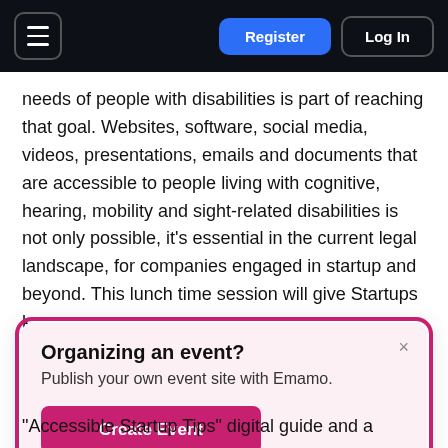Register | Log In
needs of people with disabilities is part of reaching that goal. Websites, software, social media, videos, presentations, emails and documents that are accessible to people living with cognitive, hearing, mobility and sight-related disabilities is not only possible, it's essential in the current legal landscape, for companies engaged in startup and beyond. This lunch time session will give Startups k…
Organizing an event?
Publish your own event site with Emamo.
Create Event
"Accessible Startup Tips" digital guide and a